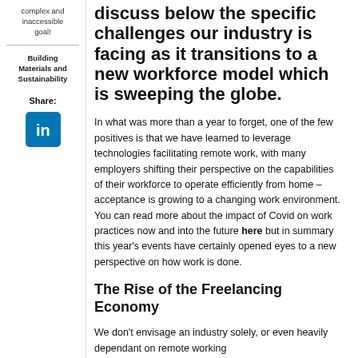complex and inaccessible goal!
Building Materials and Sustainability
Share:
[Figure (logo): LinkedIn logo icon — white 'in' on blue square background]
discuss below the specific challenges our industry is facing as it transitions to a new workforce model which is sweeping the globe.
In what was more than a year to forget, one of the few positives is that we have learned to leverage technologies facilitating remote work, with many employers shifting their perspective on the capabilities of their workforce to operate efficiently from home – acceptance is growing to a changing work environment. You can read more about the impact of Covid on work practices now and into the future here but in summary this year's events have certainly opened eyes to a new perspective on how work is done.
The Rise of the Freelancing Economy
We don't envisage an industry solely, or even heavily dependant on remote working